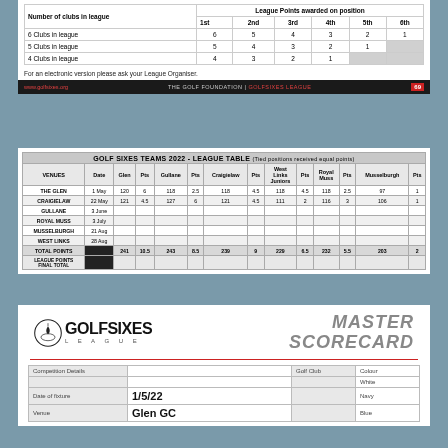| Number of clubs in league | 1st | 2nd | 3rd | 4th | 5th | 6th |
| --- | --- | --- | --- | --- | --- | --- |
| 6 Clubs in league | 6 | 5 | 4 | 3 | 2 | 1 |
| 5 Clubs in league | 5 | 4 | 3 | 2 | 1 |  |
| 4 Clubs in league | 4 | 3 | 2 | 1 |  |  |
For an electronic version please ask your League Organiser.
www.golfsixes.org   THE GOLF FOUNDATION | GOLFSIXES LEAGUE   69
| VENUES | Date | Glen | Pts | Gullane | Pts | Craigielaw | Pts | West Links Juniors | Pts | Royal Muss | Pts | Musselburgh | Pts |
| --- | --- | --- | --- | --- | --- | --- | --- | --- | --- | --- | --- | --- | --- |
| THE GLEN | 1 May | 120 | 6 | 118 | 2.5 | 118 | 4.5 | 118 | 4.5 | 118 | 2.5 | 97 | 1 |
| CRAIGIELAW | 22 May | 121 | 4.5 | 127 | 6 | 121 | 4.5 | 111 | 2 | 116 | 3 | 106 | 1 |
| GULLANE | 3 June |  |  |  |  |  |  |  |  |  |  |  |  |
| ROYAL MUSS | 3 July |  |  |  |  |  |  |  |  |  |  |  |  |
| MUSSELBURGH | 21 Aug |  |  |  |  |  |  |  |  |  |  |  |  |
| WEST LINKS | 28 Aug |  |  |  |  |  |  |  |  |  |  |  |  |
| TOTAL POINTS |  | 241 | 10.5 | 243 | 8.5 | 239 | 9 | 229 | 6.5 | 232 | 5.5 | 203 | 2 |
| LEAGUE POINTS FINAL TOTAL |  |  |  |  |  |  |  |  |  |  |  |  |  |
[Figure (logo): Golf Sixes League logo with circular emblem and text GOLFSIXES LEAGUE]
MASTER SCORECARD
| Competition Details |  | Golf Club | Colour |
| --- | --- | --- | --- |
|  |  |  | White |
| Date of fixture | 1/5/22 |  | Navy |
| Venue | Glen GC |  | Blue |